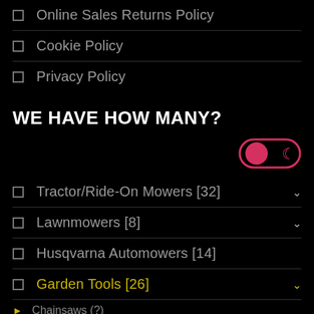Online Sales Returns Policy
Cookie Policy
Privacy Policy
WE HAVE HOW MANY?
[Figure (other): Toggle switch UI element in pink/red, toggled on (left side active with circle, right side shows moon icon)]
Tractor/Ride-On Mowers [32]
Lawnmowers [8]
Husqvarna Automowers [14]
Garden Tools [26]
Chainsaws (?)